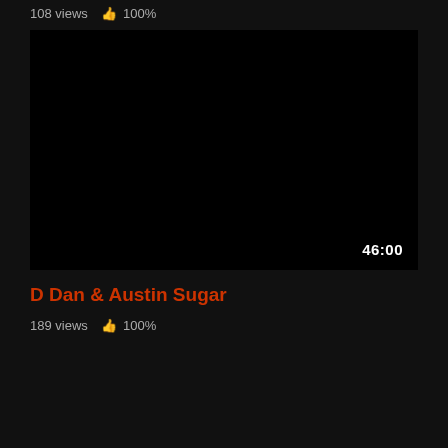108 views  👍 100%
[Figure (screenshot): Dark/black video thumbnail area with duration badge showing 46:00 in bottom right corner]
D Dan & Austin Sugar
189 views  👍 100%